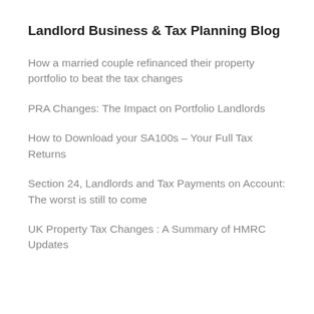Landlord Business & Tax Planning Blog
How a married couple refinanced their property portfolio to beat the tax changes
PRA Changes: The Impact on Portfolio Landlords
How to Download your SA100s – Your Full Tax Returns
Section 24, Landlords and Tax Payments on Account: The worst is still to come
UK Property Tax Changes : A Summary of HMRC Updates